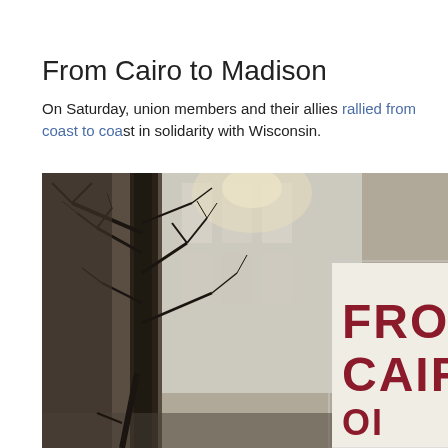From Cairo to Madison
On Saturday, union members and their allies rallied from coast to coast in solidarity with Wisconsin.
[Figure (photo): Outdoor protest photo showing bare tree branches against a building with sunlight, and a hand-held sign in the right portion reading 'FROM CAIRO' in large dark red letters on white background, with partial text below.]